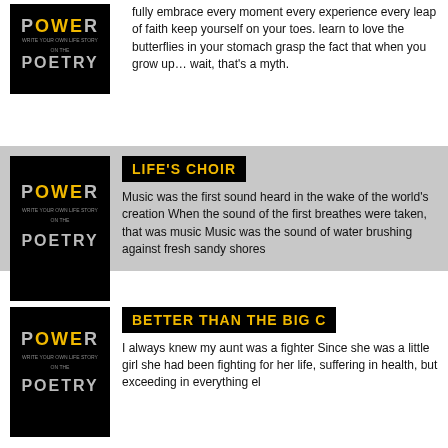[Figure (illustration): Power Poetry book cover thumbnail - black background with stylized 'POWER' and 'POETRY' text]
fully embrace every moment every experience every leap of faith keep yourself on your toes. learn to love the butterflies in your stomach grasp the fact that when you grow up… wait, that's a myth.
[Figure (illustration): Power Poetry book cover thumbnail - black background with stylized 'POWER' and 'POETRY' text]
LIFE'S CHOIR
Music was the first sound heard in the wake of the world's creation When the sound of the first breathes were taken, that was music Music was the sound of water brushing against fresh sandy shores
[Figure (illustration): Power Poetry book cover thumbnail - black background with stylized 'POWER' and 'POETRY' text]
BETTER THAN THE BIG C
I always knew my aunt was a fighter  Since she was a little girl she had been fighting for her life, suffering in health, but exceeding in everything el...